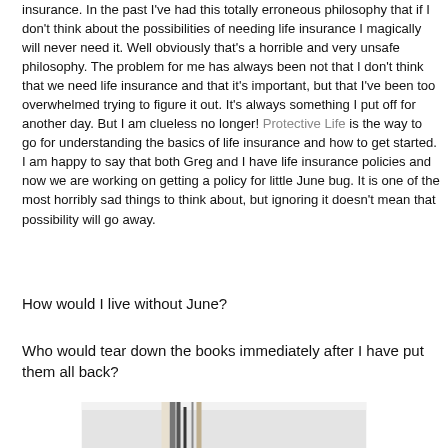insurance.  In the past I've had this totally erroneous philosophy that if I don't think about the possibilities of needing life insurance I magically will never need it.  Well obviously that's a horrible and very unsafe philosophy.  The problem for me has always been not that I don't think that we need life insurance and that it's important, but that I've been too overwhelmed trying to figure it out.  It's always something I put off for another day. But I am clueless no longer! Protective Life is the way to go for understanding the basics of life insurance and how to get started.  I am happy to say that both Greg and I have life insurance policies and now we are working on getting a policy for little June bug.  It is one of the most horribly sad things to think about, but ignoring it doesn't mean that possibility will go away.
How would I live without June?
Who would tear down the books immediately after I have put them all back?
[Figure (photo): Partial photo of a child or scene with books, showing bottom portion of image]